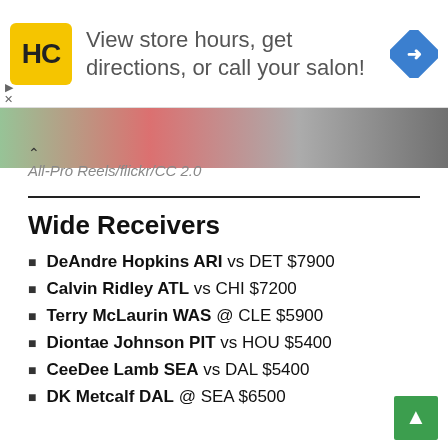[Figure (screenshot): Advertisement banner for Hair Club (HC) salon: yellow logo with HC text, ad text 'View store hours, get directions, or call your salon!', blue navigation diamond icon on right.]
All-Pro Reels/flickr/CC 2.0
Wide Receivers
DeAndre Hopkins ARI vs DET $7900
Calvin Ridley ATL vs CHI $7200
Terry McLaurin WAS @ CLE $5900
Diontae Johnson PIT vs HOU $5400
CeeDee Lamb SEA vs DAL $5400
DK Metcalf DAL @ SEA $6500